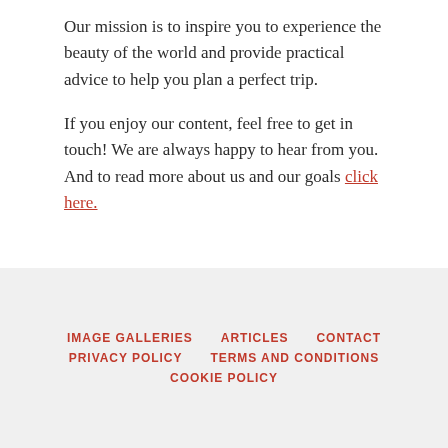Our mission is to inspire you to experience the beauty of the world and provide practical advice to help you plan a perfect trip.
If you enjoy our content, feel free to get in touch! We are always happy to hear from you. And to read more about us and our goals click here.
IMAGE GALLERIES   ARTICLES   CONTACT   PRIVACY POLICY   TERMS AND CONDITIONS   COOKIE POLICY